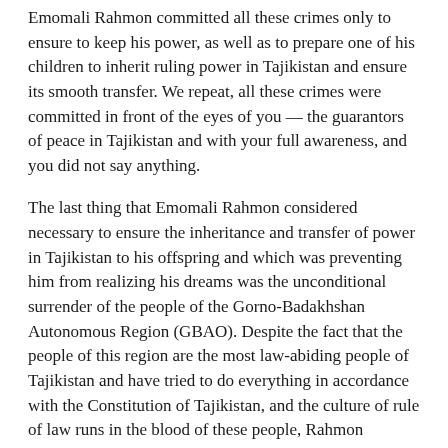Emomali Rahmon committed all these crimes only to ensure to keep his power, as well as to prepare one of his children to inherit ruling power in Tajikistan and ensure its smooth transfer. We repeat, all these crimes were committed in front of the eyes of you — the guarantors of peace in Tajikistan and with your full awareness, and you did not say anything.
The last thing that Emomali Rahmon considered necessary to ensure the inheritance and transfer of power in Tajikistan to his offspring and which was preventing him from realizing his dreams was the unconditional surrender of the people of the Gorno-Badakhshan Autonomous Region (GBAO). Despite the fact that the people of this region are the most law-abiding people of Tajikistan and have tried to do everything in accordance with the Constitution of Tajikistan, and the culture of rule of law runs in the blood of these people, Rahmon arranged military attack on this region.
According to official reports, 21 people were killed and hundreds more were wounded in a military operation conducted by President Emomali Rahmon last week in this safe and peaceful region. According to media reports, the top number of victims is much higher. The situation is